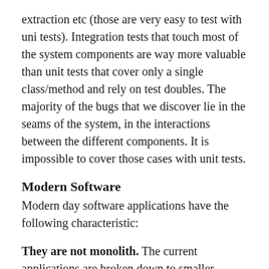extraction etc (those are very easy to test with uni tests). Integration tests that touch most of the system components are way more valuable than unit tests that cover only a single class/method and rely on test doubles. The majority of the bugs that we discover lie in the seams of the system, in the interactions between the different components. It is impossible to cover those cases with unit tests.
Modern Software
Modern day software applications have the following characteristic:
They are not monolith. The current applications are broken down to smaller pieces, which makes them easy to develop and deploy. The rise of